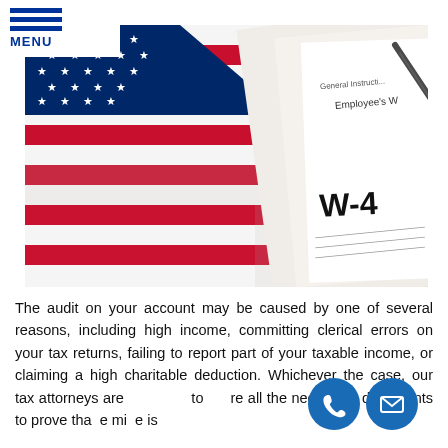MENU
[Figure (photo): American flag with a W-4 tax form and a blue pen on top of it]
The audit on your account may be caused by one of several reasons, including high income, committing clerical errors on your tax returns, failing to report part of your taxable income, or claiming a high charitable deduction. Whichever the case, our tax attorneys are to re all the necessary documents to prove that the mistake is